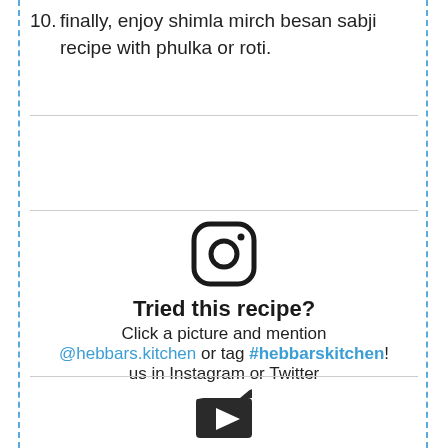10. finally, enjoy shimla mirch besan sabji recipe with phulka or roti.
[Figure (logo): Instagram logo icon — rounded square outline with circle and dot]
Tried this recipe?
Click a picture and mention @hebbars.kitchen or tag #hebbarskitchen! us in Instagram or Twitter
[Figure (illustration): Video/YouTube play button icon — clapperboard with play triangle]
Subscribe to our Youtube